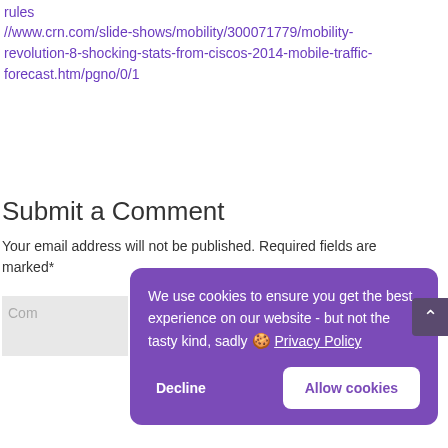rules
//www.crn.com/slide-shows/mobility/300071779/mobility-revolution-8-shocking-stats-from-ciscos-2014-mobile-traffic-forecast.htm/pgno/0/1
Submit a Comment
Your email address will not be published. Required fields are marked*
Com
We use cookies to ensure you get the best experience on our website - but not the tasty kind, sadly 🍪 Privacy Policy
Decline
Allow cookies